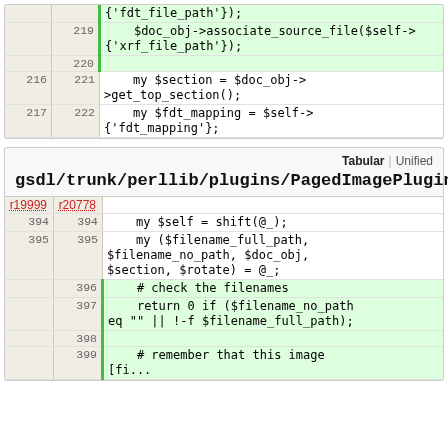| old | new | code |
| --- | --- | --- |
|  |  | {'fdt_file_path'}); |
|  | 219 | $doc_obj->associate_source_file($self->{'xrf_file_path'}); |
|  | 220 |  |
| 216 | 221 |     my $section = $doc_obj->get_top_section(); |
| 217 | 222 |     my $fdt_mapping = $self->{'fdt_mapping'}; |
| r19999 | r20778 | code |
| --- | --- | --- |
| 394 | 394 |     my $self = shift(@_); |
| 395 | 395 |     my ($filename_full_path, $filename_no_path, $doc_obj, $section, $rotate) = @_; |
|  | 396 |     # check the filenames |
|  | 397 |     return 0 if ($filename_no_path eq "" || !-f $filename_full_path); |
|  | 398 |  |
|  | 399 |     # remember that this image [fi... |